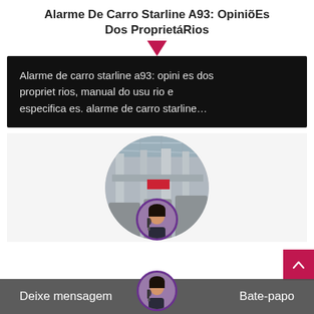Alarme De Carro Starline A93: OpiniõEs Dos ProprietáRios
Alarme de carro starline a93: opini es dos propriet rios, manual do usu rio e especifica es. alarme de carro starline…
[Figure (photo): Circular-cropped photo of an industrial facility interior with pipes and overhead structure; overlaid at bottom with a circular avatar of a woman with a headset.]